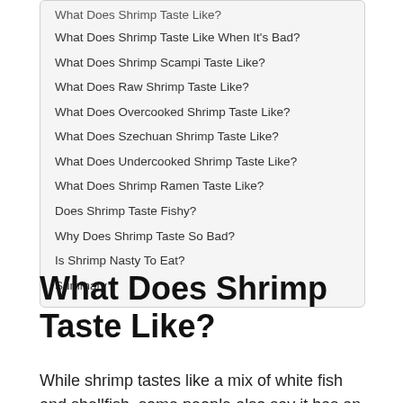What Does Shrimp Taste Like?
What Does Shrimp Taste Like When It's Bad?
What Does Shrimp Scampi Taste Like?
What Does Raw Shrimp Taste Like?
What Does Overcooked Shrimp Taste Like?
What Does Szechuan Shrimp Taste Like?
What Does Undercooked Shrimp Taste Like?
What Does Shrimp Ramen Taste Like?
Does Shrimp Taste Fishy?
Why Does Shrimp Taste So Bad?
Is Shrimp Nasty To Eat?
Summary
What Does Shrimp Taste Like?
While shrimp tastes like a mix of white fish and shellfish, some people also say it has an almost